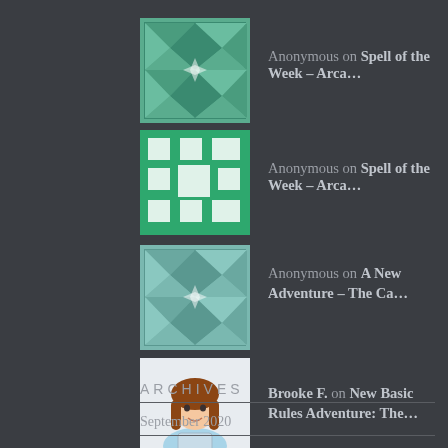Anonymous on Spell of the Week – Arca…
Anonymous on Spell of the Week – Arca…
Anonymous on A New Adventure – The Ca…
Brooke F. on New Basic Rules Adventure: The…
Brooke F. on Character Craftroom – Re…
ARCHIVES
September 2020